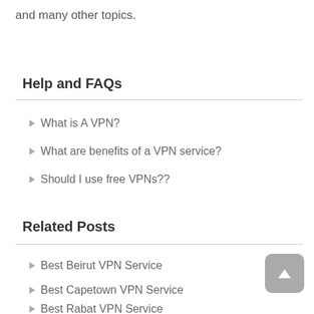and many other topics.
Help and FAQs
What is A VPN?
What are benefits of a VPN service?
Should I use free VPNs??
Related Posts
Best Beirut VPN Service
Best Capetown VPN Service
Best Rabat VPN Service